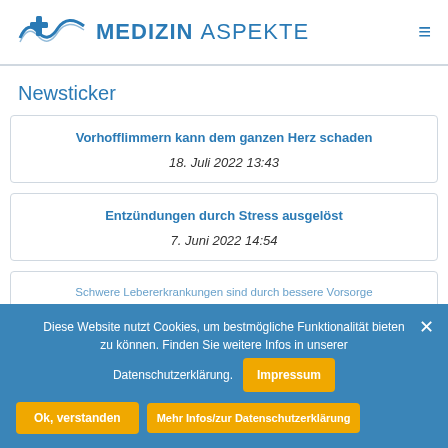MEDIZIN ASPEKTE
Newsticker
Vorhofflimmern kann dem ganzen Herz schaden
18. Juli 2022 13:43
Entzündungen durch Stress ausgelöst
7. Juni 2022 14:54
Schwere Lebererkrankungen sind durch bessere Vorsorge...
Diese Website nutzt Cookies, um bestmögliche Funktionalität bieten zu können. Finden Sie weitere Infos in unserer Datenschutzerklärung. [Impressum] [Ok, verstanden] [Mehr Infos/zur Datenschutzerklärung] [×]